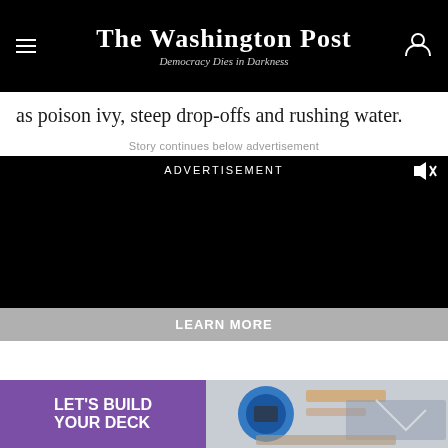The Washington Post — Democracy Dies in Darkness
as poison ivy, steep drop-offs and rushing water.
Story continues below advertisement
[Figure (other): Black video advertisement box with 'ADVERTISEMENT' label and mute icon]
LEARN MORE
[Figure (other): Banner advertisement: purple section reading LET'S BUILD YOUR DECK next to a photo of construction work with a circular saw]